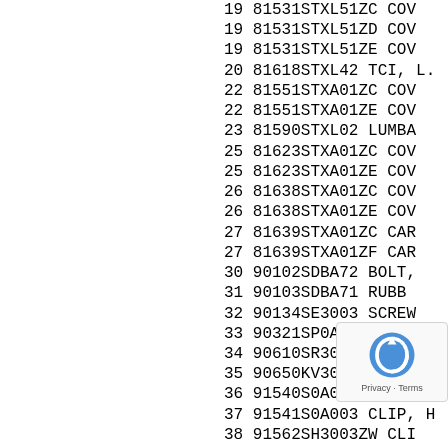19 81531STXL51ZC COV
19 81531STXL51ZD COV
19 81531STXL51ZE COV
20 81618STXL42 TCI, L.
22 81551STXA01ZC COV
22 81551STXA01ZE COV
23 81590STXL02 LUMBA
25 81623STXA01ZC COV
25 81623STXA01ZE COV
26 81638STXA01ZC COV
26 81638STXA01ZE COV
27 81639STXA01ZC CAR
27 81639STXA01ZF CAR
30 90102SDBA72 BOLT,
31 90103SDBA71 RUBB
32 90134SE3003 SCREW
33 90321SP0A80 NUT-W
34 90610SR3003 CLIP, G
35 90650KV3000 BAND,
36 91540S0A003 CLIP, H
37 91541S0A003 CLIP, H
38 91562SH3003ZW CLI
39 91566SP00
40 90134SE30
41 94050060
42 81198TE0A41 SPRIN